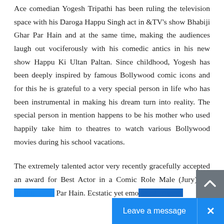Ace comedian Yogesh Tripathi has been ruling the television space with his Daroga Happu Singh act in &TV's show Bhabiji Ghar Par Hain and at the same time, making the audiences laugh out vociferously with his comedic antics in his new show Happu Ki Ultan Paltan. Since childhood, Yogesh has been deeply inspired by famous Bollywood comic icons and for this he is grateful to a very special person in life who has been instrumental in making his dream turn into reality. The special person in mention happens to be his mother who used happily take him to theatres to watch various Bollywood movies during his school vacations.
The extremely talented actor very recently gracefully accepted an award for Best Actor in a Comic Role Male (Jury) fo... Bhabiji Ghar Par Hain. Ecstatic yet emotional, Yogesh...
[Figure (screenshot): Live chat widget overlay at bottom of page with 'Leave a message' button and close (X) button in blue, and a grey back-to-top arrow button above it on the right side.]